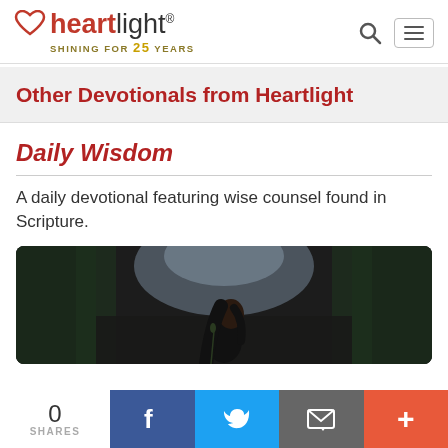heartlight® SHINING FOR 25 YEARS
Other Devotionals from Heartlight
Daily Wisdom
A daily devotional featuring wise counsel found in Scripture.
[Figure (photo): Woman with dark hair looking upward in a dark forest setting with a bright sky]
0 SHARES